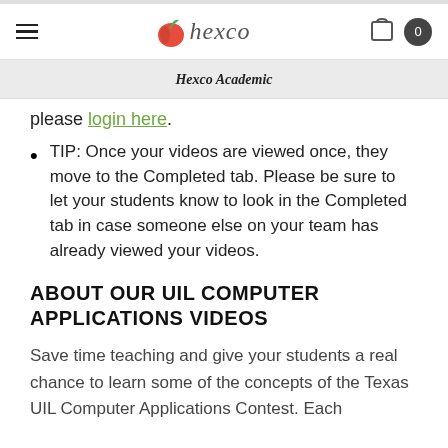Hexco Academic
please login here.
TIP: Once your videos are viewed once, they move to the Completed tab. Please be sure to let your students know to look in the Completed tab in case someone else on your team has already viewed your videos.
ABOUT OUR UIL COMPUTER APPLICATIONS VIDEOS
Save time teaching and give your students a real chance to learn some of the concepts of the Texas UIL Computer Applications Contest. Each